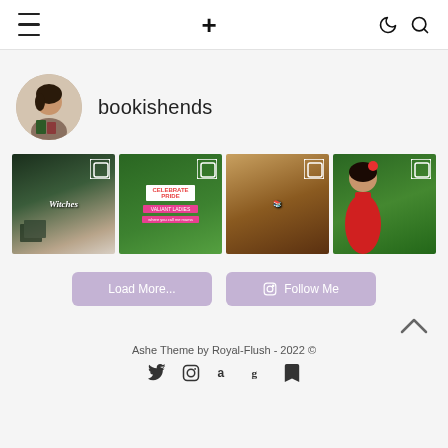Navigation bar with menu, plus, moon and search icons
[Figure (screenshot): bookishends Instagram profile avatar - woman holding books, circular crop]
bookishends
[Figure (photo): Instagram grid of 4 photos: books on white fur, celebrate pride books on green background, tarot/book spread, woman in red dress holding book]
Load More...
Follow Me
Ashe Theme by Royal-Flush - 2022 ©
Twitter, Instagram, Amazon, Goodreads, Bookmark social icons